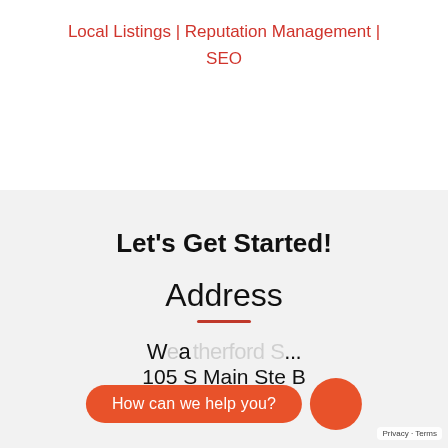Local Listings | Reputation Management | SEO
Let's Get Started!
Address
Weatherford Ste ... 105 S Main Ste B Weatherford TX ...
How can we help you?
Privacy · Terms